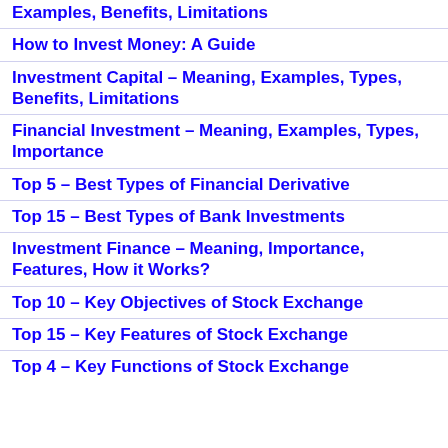Examples, Benefits, Limitations
How to Invest Money: A Guide
Investment Capital – Meaning, Examples, Types, Benefits, Limitations
Financial Investment – Meaning, Examples, Types, Importance
Top 5 – Best Types of Financial Derivative
Top 15 – Best Types of Bank Investments
Investment Finance – Meaning, Importance, Features, How it Works?
Top 10 – Key Objectives of Stock Exchange
Top 15 – Key Features of Stock Exchange
Top 4 – Key Functions of Stock Exchange